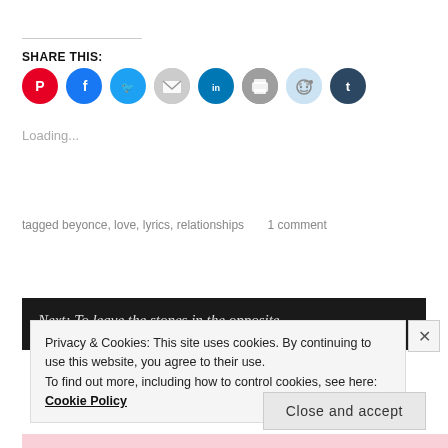SHARE THIS:
[Figure (infographic): Row of 8 circular social share buttons: Pinterest (red), Facebook (blue), Twitter (cyan), Email (gray), LinkedIn (dark teal), Print (gray), Reddit (light blue), Tumblr (dark navy)]
Loading...
tagged beyonce, love, lyrics, relationships     1 comment
[Figure (screenshot): Dark banner with italic white cursive text partially visible]
Privacy & Cookies: This site uses cookies. By continuing to use this website, you agree to their use.
To find out more, including how to control cookies, see here: Cookie Policy
Close and accept